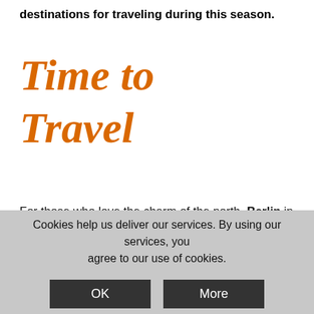destinations for traveling during this season.
Time to Travel
For those who love the charm of the north, Berlin in spring is a real feast for the eyes. The streets of the city, no longer cold and gray as in winter, are filled with flowers and the green of the trees, the parks are populated again, there are many events that make the German capital a must to discover.
Cookies help us deliver our services. By using our services, you agree to our use of cookies.
OK  More